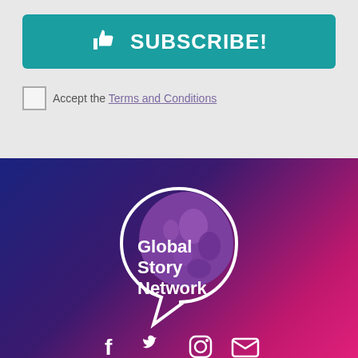SUBSCRIBE!
Accept the Terms and Conditions
[Figure (logo): Global Story Network logo - speech bubble shape with purple globe texture inside, white text reading Global Story Network]
[Figure (infographic): Social media icons: Facebook, Twitter, Instagram, Email - white icons on gradient background]